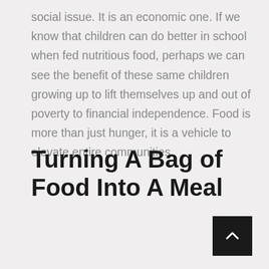social issue. It is an economic one. If we know that children can do better in school when fed nutritious food, perhaps we can see the benefit of these same children growing up to lift themselves up and out of poverty to financial independence. Food is more than just hunger, it is a vehicle to elevate entire communities.
Turning A Bag of Food Into A Meal